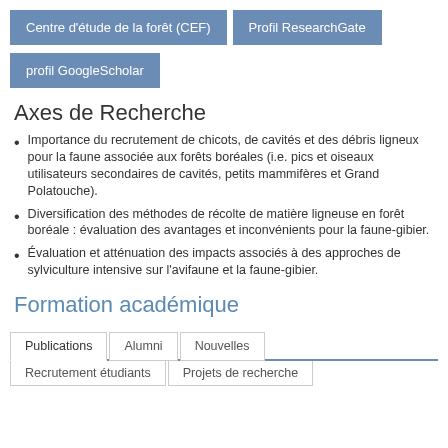Centre d'étude de la forêt (CEF)
Profil ResearchGate
profil GoogleScholar
Axes de Recherche
Importance du recrutement de chicots, de cavités et des débris ligneux pour la faune associée aux forêts boréales (i.e. pics et oiseaux utilisateurs secondaires de cavités, petits mammifères et Grand Polatouche).
Diversification des méthodes de récolte de matière ligneuse en forêt boréale : évaluation des avantages et inconvénients pour la faune-gibier.
Évaluation et atténuation des impacts associés à des approches de sylviculture intensive sur l'avifaune et la faune-gibier.
Formation académique
| Publications | Alumni | Nouvelles |
| --- | --- | --- |
| Recrutement étudiants | Projets de recherche |  |